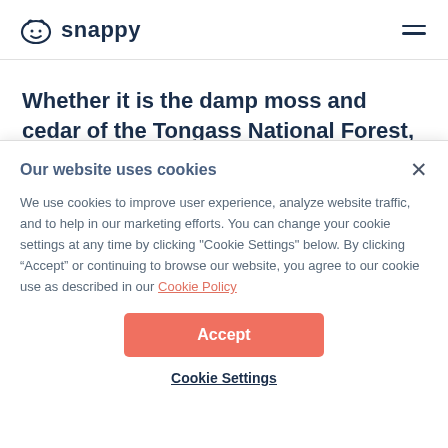snappy
Whether it is the damp moss and cedar of the Tongass National Forest, the richness of a Sitka Spruce, the freshness of Juneau Rain...
Our website uses cookies
We use cookies to improve user experience, analyze website traffic, and to help in our marketing efforts. You can change your cookie settings at any time by clicking "Cookie Settings" below. By clicking “Accept” or continuing to browse our website, you agree to our cookie use as described in our Cookie Policy
Accept
Cookie Settings